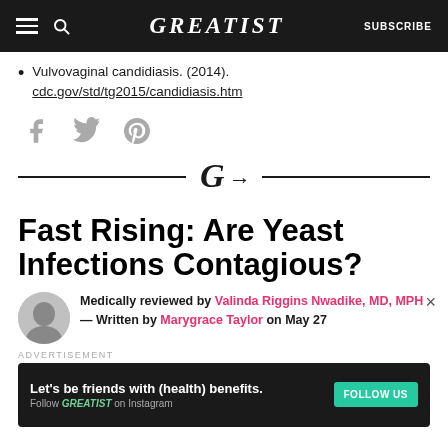GREATIST — SUBSCRIBE
Vulvovaginal candidiasis. (2014). cdc.gov/std/tg2015/candidiasis.htm
[Figure (other): Social sharing icons: Facebook, Twitter, Pinterest]
[Figure (logo): Greatist G logo divider with horizontal lines]
Fast Rising: Are Yeast Infections Contagious?
Medically reviewed by Valinda Riggins Nwadike, MD, MPH — Written by Marygrace Taylor on May 27
[Figure (other): Advertisement banner: Let's be friends with (health) benefits. Follow GREATIST on Instagram. FOLLOW US button.]